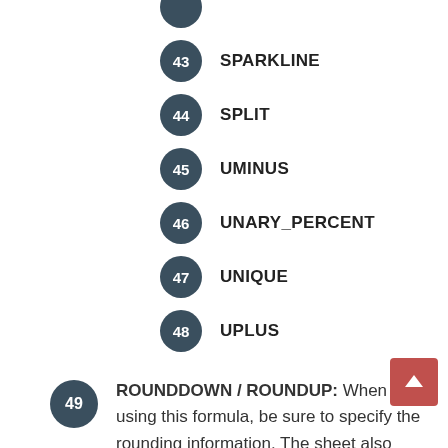43 SPARKLINE
44 SPLIT
45 UMINUS
46 UNARY_PERCENT
47 UNIQUE
48 UPLUS
49 ROUNDDOWN / ROUNDUP: When using this formula, be sure to specify the rounding information. The sheet also calculates with the formula ROUNDUP(VALUE), but the app needs the full information, so: